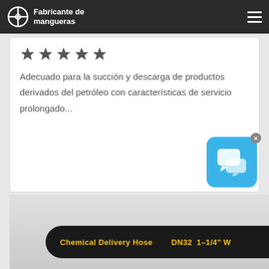Fabricante de mangueras
[Figure (other): Five dark star rating icons]
Adecuado para la succión y descarga de productos derivados del petróleo con características de servicio prolongado...
[Figure (other): Blue chat/messaging widget icon with close button]
[Figure (photo): Black Chemical Delivery Hose product image with yellow text label: Chemical Delivery Hose DN32 1–1/4" W]